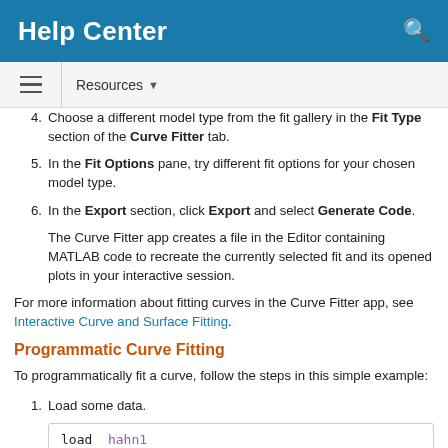Help Center
4. Choose a different model type from the fit gallery in the Fit Type section of the Curve Fitter tab.
5. In the Fit Options pane, try different fit options for your chosen model type.
6. In the Export section, click Export and select Generate Code. The Curve Fitter app creates a file in the Editor containing MATLAB code to recreate the currently selected fit and its opened plots in your interactive session.
For more information about fitting curves in the Curve Fitter app, see Interactive Curve and Surface Fitting.
Programmatic Curve Fitting
To programmatically fit a curve, follow the steps in this simple example:
1. Load some data.
load hahn1